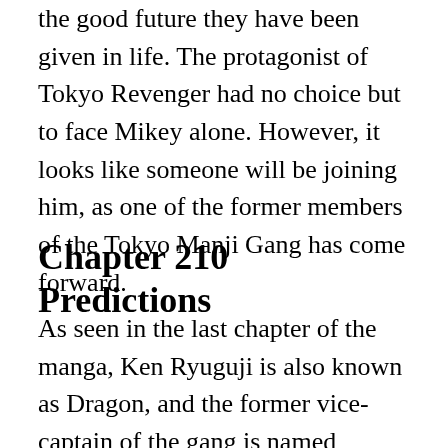the good future they have been given in life. The protagonist of Tokyo Revenger had no choice but to face Mikey alone. However, it looks like someone will be joining him, as one of the former members of the Tokyo Manji Gang has come forward.
Chapter 210 Predictions
As seen in the last chapter of the manga, Ken Ryuguji is also known as Dragon, and the former vice-captain of the gang is named Takemichi. The cliffhanger certainly assumes that Draken is up to something, and since he's